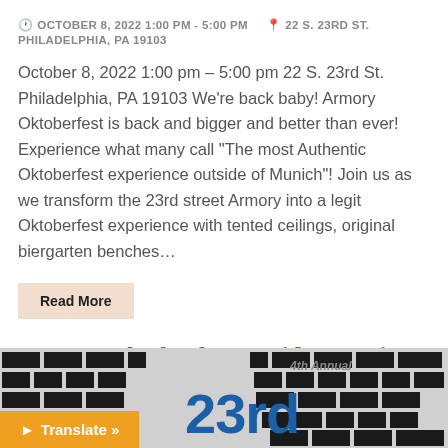OCTOBER 8, 2022 1:00 PM - 5:00 PM   22 S. 23RD ST. PHILADELPHIA, PA 19103
October 8, 2022 1:00 pm – 5:00 pm 22 S. 23rd St. Philadelphia, PA 19103 We're back baby! Armory Oktoberfest is back and bigger and better than ever! Experience what many call "The most Authentic Oktoberfest experience outside of Munich"! Join us as we transform the 23rd street Armory into a legit Oktoberfest experience with tented ceilings, original biergarten benches…
Read More
Armory Oktoberfest - Friday Session
[Figure (photo): Partial image showing a brick-pattern background with '23rd' text in large blue letters and '4th Annual' text in the upper right, with a Translate button overlay at the bottom left]